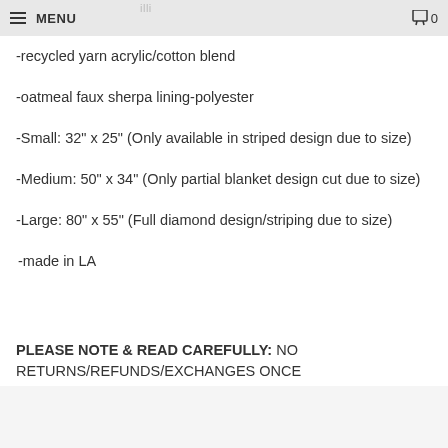MENU  0
-recycled yarn acrylic/cotton blend
-oatmeal faux sherpa lining-polyester
-Small: 32" x 25" (Only available in striped design due to size)
-Medium: 50" x 34" (Only partial blanket design cut due to size)
-Large: 80" x 55" (Full diamond design/striping due to size)
-made in LA
PLEASE NOTE & READ CAREFULLY: NO RETURNS/REFUNDS/EXCHANGES ONCE